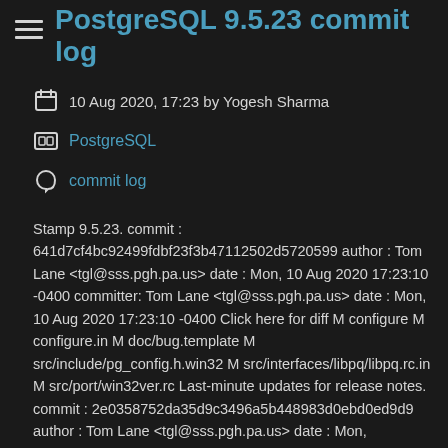PostgreSQL 9.5.23 commit log
10 Aug 2020, 17:23 by Yogesh Sharma
PostgreSQL
commit log
Stamp 9.5.23. commit : 641d7cf4bc92499fdbf23f3b47112502d5720599 author : Tom Lane <tgl@sss.pgh.pa.us> date : Mon, 10 Aug 2020 17:23:10 -0400 committer: Tom Lane <tgl@sss.pgh.pa.us> date : Mon, 10 Aug 2020 17:23:10 -0400 Click here for diff M configure M configure.in M doc/bug.template M src/include/pg_config.h.win32 M src/interfaces/libpq/libpq.rc.in M src/port/win32ver.rc Last-minute updates for release notes. commit : 2e0358752da35d9c3496a5b448983d0ebd0ed9d9 author : Tom Lane <tgl@sss.pgh.pa.us> date : Mon,